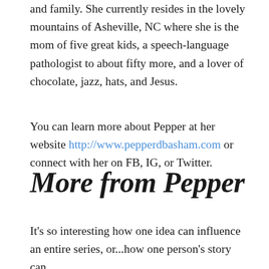and family. She currently resides in the lovely mountains of Asheville, NC where she is the mom of five great kids, a speech-language pathologist to about fifty more, and a lover of chocolate, jazz, hats, and Jesus.
You can learn more about Pepper at her website http://www.pepperdbasham.com or connect with her on FB, IG, or Twitter.
More from Pepper
It's so interesting how one idea can influence an entire series, or...how one person's story can.